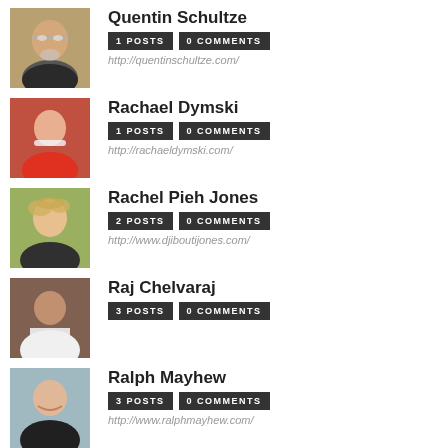[Figure (photo): Profile photo of Quentin Schultze, older man with glasses and white beard]
Quentin Schultze
1 POSTS  0 COMMENTS
http://quentinschultze.com/
[Figure (photo): Profile photo of Rachael Dymski, woman with red jacket]
Rachael Dymski
1 POSTS  0 COMMENTS
http://rachaeldymski.com/
[Figure (photo): Profile photo of Rachel Pieh Jones, woman with curly blonde hair]
Rachel Pieh Jones
2 POSTS  0 COMMENTS
http://www.djiboutijones.com/
[Figure (photo): Profile photo of Raj Chelvaraj, man sitting with arms crossed]
Raj Chelvaraj
3 POSTS  0 COMMENTS
[Figure (photo): Profile photo of Ralph Mayhew, smiling man]
Ralph Mayhew
3 POSTS  0 COMMENTS
http://www.ralphmayhew.com/